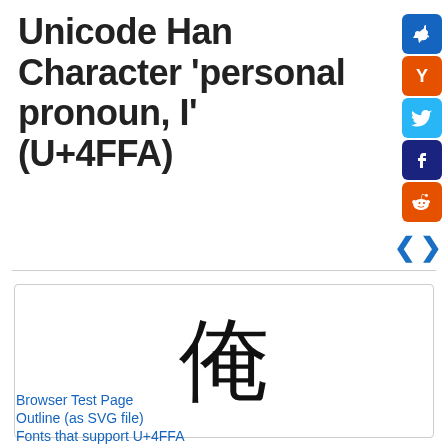Unicode Han Character 'personal pronoun, I' (U+4FFA)
[Figure (illustration): Social share icons: pin (blue), Y (orange), Twitter (light blue), Facebook (dark blue), Reddit (orange)]
[Figure (other): Navigation arrows left and right in blue]
[Figure (illustration): Large Han character 俺 displayed in a bordered box]
Browser Test Page
Outline (as SVG file)
Fonts that support U+4FFA